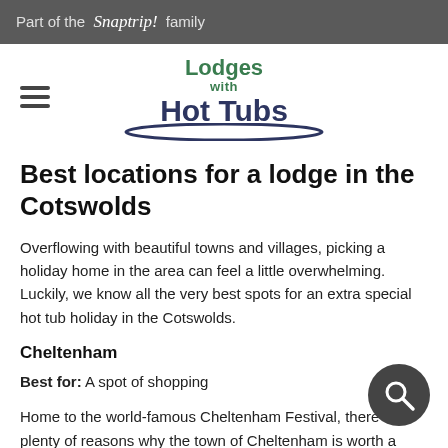Part of the Snaptrip! family
[Figure (logo): Lodges with Hot Tubs logo with oval underline and hamburger menu icon]
Best locations for a lodge in the Cotswolds
Overflowing with beautiful towns and villages, picking a holiday home in the area can feel a little overwhelming. Luckily, we know all the very best spots for an extra special hot tub holiday in the Cotswolds.
Cheltenham
Best for: A spot of shopping
Home to the world-famous Cheltenham Festival, there are plenty of reasons why the town of Cheltenham is worth a visit. Gorgeous Georgian architecture, pretty landscaped public parks and plenty of restaurants, bars and shops. You certainly won't be stuck for things to do in